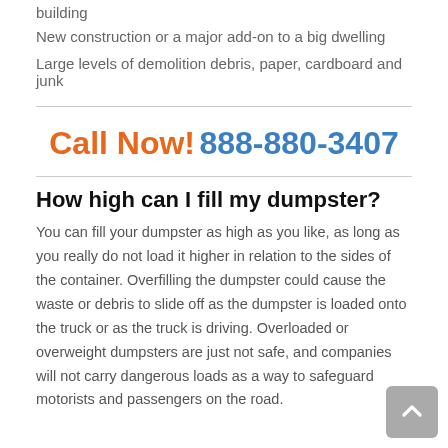building
New construction or a major add-on to a big dwelling
Large levels of demolition debris, paper, cardboard and junk
Call Now! 888-880-3407
How high can I fill my dumpster?
You can fill your dumpster as high as you like, as long as you really do not load it higher in relation to the sides of the container. Overfilling the dumpster could cause the waste or debris to slide off as the dumpster is loaded onto the truck or as the truck is driving. Overloaded or overweight dumpsters are just not safe, and companies will not carry dangerous loads as a way to safeguard motorists and passengers on the road.